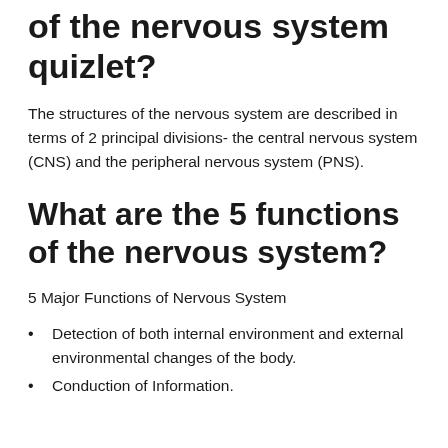of the nervous system quizlet?
The structures of the nervous system are described in terms of 2 principal divisions- the central nervous system (CNS) and the peripheral nervous system (PNS).
What are the 5 functions of the nervous system?
5 Major Functions of Nervous System
Detection of both internal environment and external environmental changes of the body.
Conduction of Information.